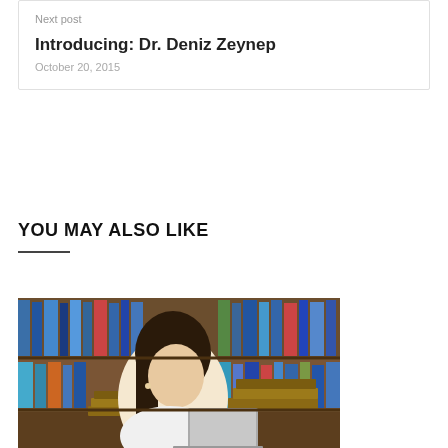Next post
Introducing: Dr. Deniz Zeynep
October 20, 2015
YOU MAY ALSO LIKE
[Figure (photo): Young woman with dark hair sitting in a library, working on a laptop, surrounded by stacks of books on shelves]